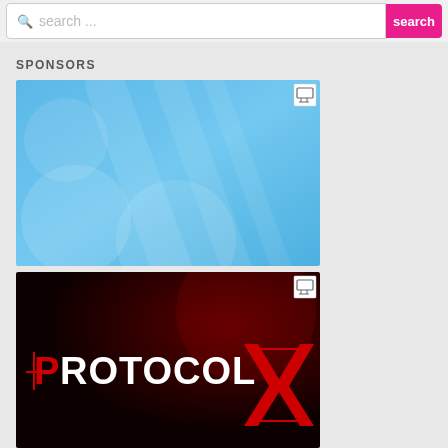search ...
SPONSORS
[Figure (illustration): Blue gradient sponsor advertisement banner with circular and diagonal lighter blue overlay shapes]
[Figure (logo): Protocol X logo — dark red/black background with PROTOCOL X text, where P has a crosshair symbol and X is rendered in red angular stripes]